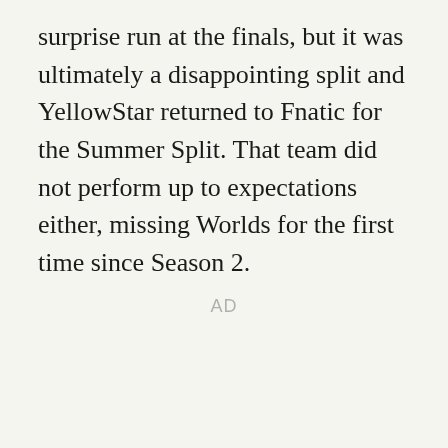surprise run at the finals, but it was ultimately a disappointing split and YellowStar returned to Fnatic for the Summer Split. That team did not perform up to expectations either, missing Worlds for the first time since Season 2.
AD